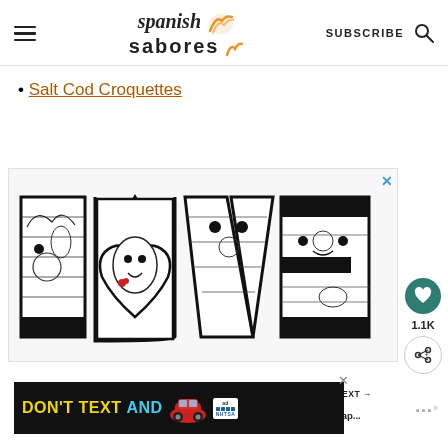Spanish Sabores — SUBSCRIBE
Salt Cod Croquettes
[Figure (illustration): Decorative LOVE text artwork in black-and-white with abstract face/pattern illustrations inside each letter, with a heart shape forming the O]
[Figure (infographic): What's Next banner: thumbnail of Spanish tapas food, text WHAT'S NEXT → 50 Best Spanish Tap...]
[Figure (infographic): Advertisement banner: DON'T TEXT AND [red car emoji graphic] with NHTSA ad logo, close button, ad label]